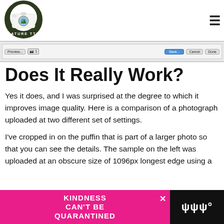[Figure (logo): Nature TTL logo — camera graphic with mountains and text 'NATURE TTL']
[Figure (screenshot): Partial screenshot of a Mac OS dialog bar with buttons: Preview, Save, Cancel, Done]
Does It Really Work?
Yes it does, and I was surprised at the degree to which it improves image quality. Here is a comparison of a photograph uploaded at two different set of settings.
I've cropped in on the puffin that is part of a larger photo so that you can see the details. The sample on the left was uploaded at an obscure size of 1096px longest edge using a
[Figure (screenshot): Advertisement banner: pink background with text 'KINDNESS CAN'T BE QUARANTINED', close X button, and dark block on right with icons]